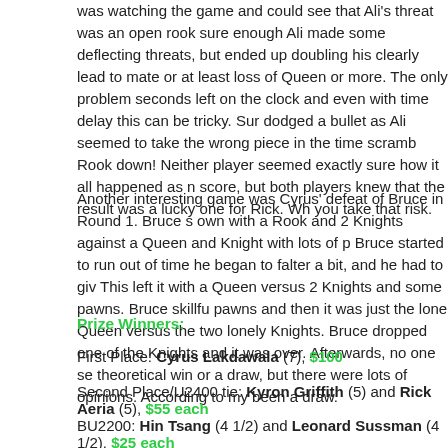was watching the game and could see that Ali's threat was an open rook sure enough Ali made some deflecting threats, but ended up doubling his clearly lead to mate or at least loss of Queen or more. The only problem seconds left on the clock and even with time delay this can be tricky. Sur dodged a bullet as Ali seemed to take the wrong piece in the time scramb Rook down! Neither player seemed exactly sure how it all happened as n score, but both players knew that the result was a lucky one for Rick. Wh you take that risk.
Another interesting game was Cyrus' defeat of Bruce in Round 1. Bruce own with a Rook and 2 Knights against a Queen and Knight with lots of p Bruce started to run out of time he began to falter a bit, and he had to giv This left it with a Queen versus 2 Knights and some pawns. Bruce skillfu pawns and then it was just the lone Queen versus the two lonely Knights. Bruce dropped one of the Knights and it was over. Afterwards, no one se theoretical win or a draw, but there were lots of opinions. According to my been a draw.
Prize Winners:
First Place: Cyrus Lakdawala (7), $100
Second Place/U2400 tie: Kyron Griffith (5) and Rick Aeria (5), $55 each
BU2200: Hin Tsang (4 1/2) and Leonard Sussman (4 1/2), $25 each